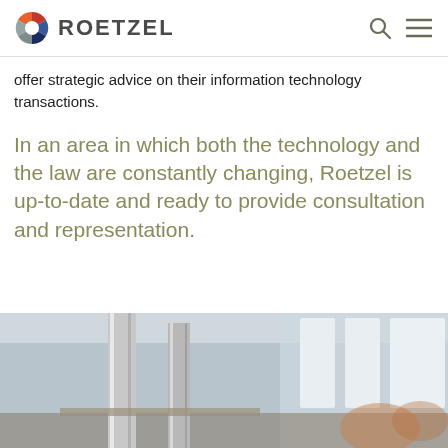ROETZEL
offer strategic advice on their information technology transactions.
In an area in which both the technology and the law are constantly changing, Roetzel is up-to-date and ready to provide consultation and representation.
[Figure (photo): Interior photo of a modern office or lobby with chrome/silver cylindrical pillars and blurred background with natural light from windows]